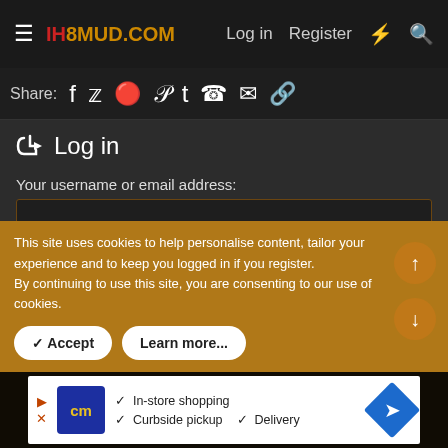IH8MUD.COM — Log in | Register
Share: (social icons: Facebook, Twitter, Reddit, Pinterest, Tumblr, WhatsApp, Email, Link)
Log in
Your username or email address:
Password:
This site uses cookies to help personalise content, tailor your experience and to keep you logged in if you register. By continuing to use this site, you are consenting to our use of cookies.
✓ Accept   Learn more...
[Figure (screenshot): Advertisement banner showing cm (Canada's Furniture) logo with In-store shopping, Curbside pickup, Delivery checkmarks and blue diamond navigation icon]